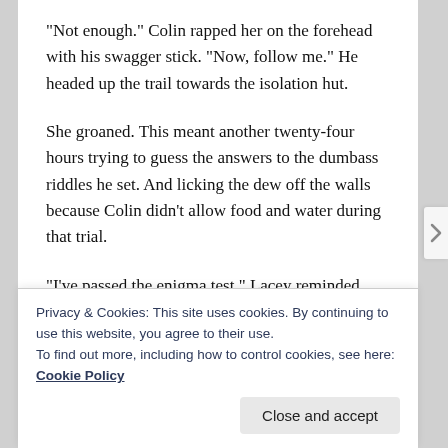“Not enough.” Colin rapped her on the forehead with his swagger stick. “Now, follow me.” He headed up the trail towards the isolation hut.
She groaned. This meant another twenty-four hours trying to guess the answers to the dumbass riddles he set. And licking the dew off the walls because Colin didn’t allow food and water during that trial.
“I’ve passed the enigma test,” Lacey reminded him.
“Which’ll make it easier for you second time around.”
“Sod off. Colin.” she roared. “I refuse to be sent back to
Privacy & Cookies: This site uses cookies. By continuing to use this website, you agree to their use.
To find out more, including how to control cookies, see here: Cookie Policy